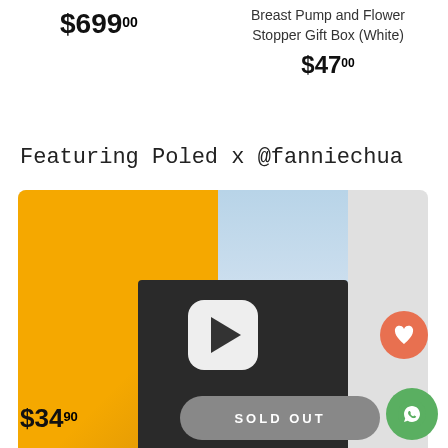$699.00
Breast Pump and Flower Stopper Gift Box (White)
$47.00
Featuring Poled x @fanniechua
[Figure (screenshot): Video thumbnail showing a woman in a mask sitting in a yellow car with a play button overlay. Left side has a grey star icon button, right side has an orange heart icon button.]
$34.90
SOLD OUT